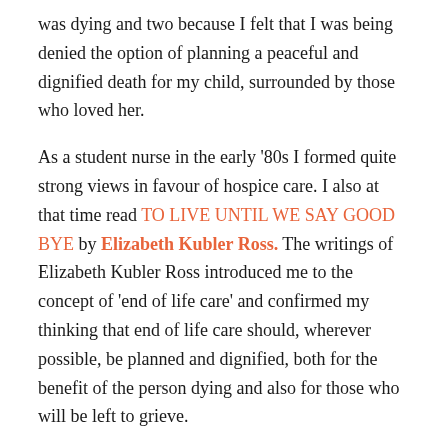was dying and two because I felt that I was being denied the option of planning a peaceful and dignified death for my child, surrounded by those who loved her.
As a student nurse in the early '80s I formed quite strong views in favour of hospice care. I also at that time read TO LIVE UNTIL WE SAY GOOD BYE by Elizabeth Kubler Ross. The writings of Elizabeth Kubler Ross introduced me to the concept of 'end of life care' and confirmed my thinking that end of life care should, wherever possible, be planned and dignified, both for the benefit of the person dying and also for those who will be left to grieve.
On Tuesday 14th January, through my own personal work contacts I was put in touch with Dr H. She immediately offered to drive the 140 mile round trip to BCH to convince the staff there that we as a family did